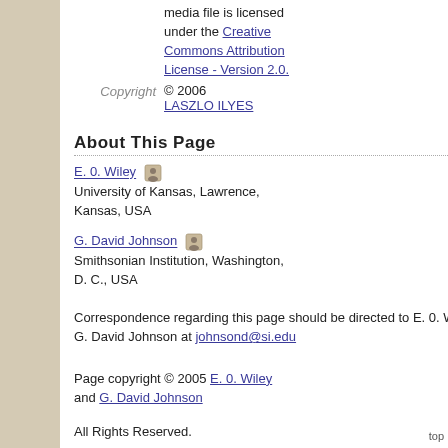media file is licensed under the Creative Commons Attribution License - Version 2.0.
Copyright © 2006 LASZLO ILYES
About This Page
E. 0. Wiley
University of Kansas, Lawrence, Kansas, USA
G. David Johnson
Smithsonian Institution, Washington, D. C., USA
Correspondence regarding this page should be directed to E. 0. Wiley at ewiley@ku.edu and G. David Johnson at johnsond@si.edu
Page copyright © 2005 E. 0. Wiley and G. David Johnson
All Rights Reserved.